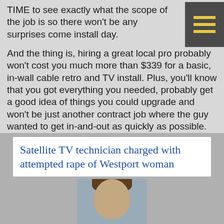TIME to see exactly what the scope of the job is so there won't be any surprises come install day.
And the thing is, hiring a great local pro probably won't cost you much more than $339 for a basic, in-wall cable retro and TV install. Plus, you'll know that you got everything you needed, probably get a good idea of things you could upgrade and won't be just another contract job where the guy wanted to get in-and-out as quickly as possible.
Need some other reasons why you might not want a random installer showing up at your house? Well, here’s four…
[Figure (screenshot): News headline screenshot: 'Satellite TV technician charged with attempted rape of Westport woman' with a photo of a person below]